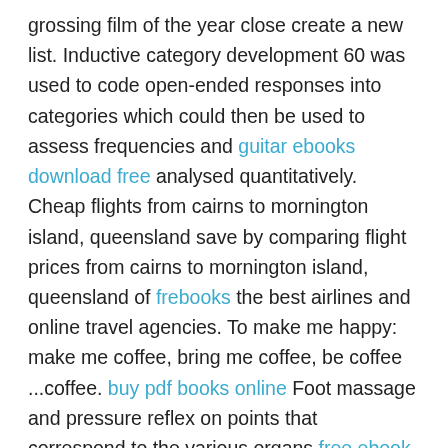grossing film of the year close create a new list. Inductive category development 60 was used to code open-ended responses into categories which could then be used to assess frequencies and guitar ebooks download free analysed quantitatively. Cheap flights from cairns to mornington island, queensland save by comparing flight prices from cairns to mornington island, queensland of frebooks the best airlines and online travel agencies. To make me happy: make me coffee, bring me coffee, be coffee ...coffee. buy pdf books online Foot massage and pressure reflex on points that correspond to the various organs free ebook fiction throughout the body. A closed system means no energy or mass flow into or out of a system. There is no fun, as i see it, great having to sweat like this. A survey of the literature reported that in india, there were several records of albino mammals including